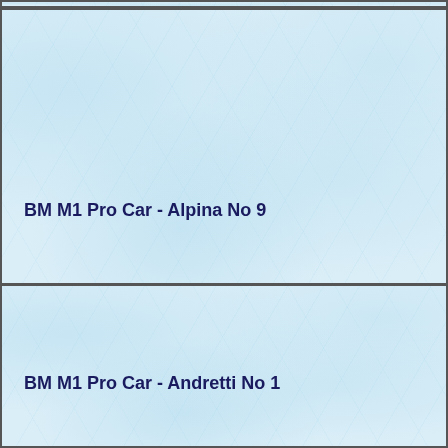[Figure (other): Light blue textured card background (partial top card, cropped)]
BM M1 Pro Car - Alpina No 9
[Figure (other): Light blue textured card background]
BM M1 Pro Car - Andretti No 1